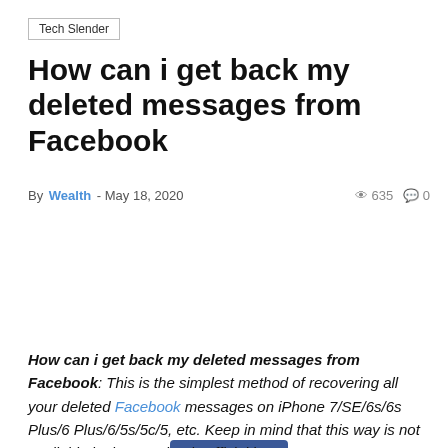Tech Slender
How can i get back my deleted messages from Facebook
By Wealth - May 18, 2020   635  0
[Figure (infographic): Like button showing 'Like 8' in Facebook blue, and a row of social sharing buttons: share icon, Facebook (blue), Twitter (cyan), Pinterest (red), WhatsApp (green), Email (black)]
How can i get back my deleted messages from Facebook: This is the simplest method of recovering all your deleted Facebook messages on iPhone 7/SE/6s/6s Plus/6 Plus/6/5s/5c/5, etc. Keep in mind that this way is not available in the Facebook Official iOS 8 app, so you must log onto Facebook via PC if you really want to find deleted messages